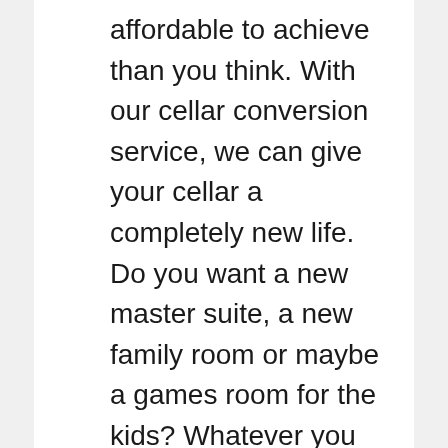affordable to achieve than you think. With our cellar conversion service, we can give your cellar a completely new life. Do you want a new master suite, a new family room or maybe a games room for the kids? Whatever you decide to do with the extra space we are positive we are the team that you need. Safety is the main concern when you change the use of space in your property. Areas that are not currently used as living space usually require new electrics, heating, doorways, etc.
Please be assured that all of our